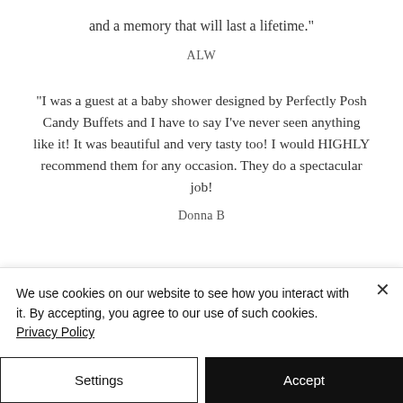and a memory that will last a lifetime."
ALW
"I was a guest at a baby shower designed by Perfectly Posh Candy Buffets and I have to say I've never seen anything like it! It was beautiful and very tasty too! I would HIGHLY recommend them for any occasion. They do a spectacular job!
Donna B
We use cookies on our website to see how you interact with it. By accepting, you agree to our use of such cookies. Privacy Policy
Settings
Accept